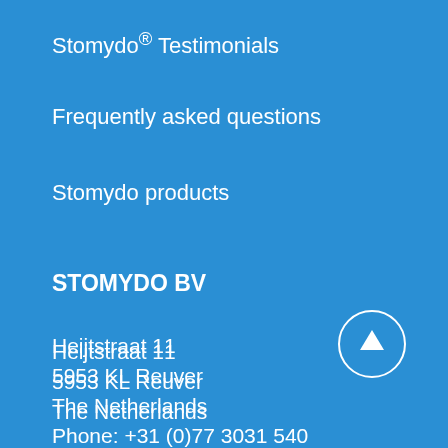Stomydo® Testimonials
Frequently asked questions
Stomydo products
STOMYDO BV
Heijtstraat 11
5953 KL Reuver
The Netherlands
Phone: +31 (0)77 3031 540
Email: info@stomydo.com